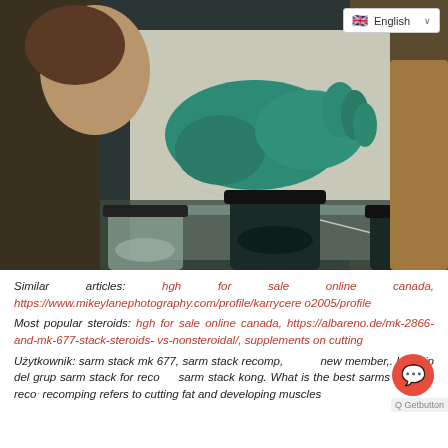[Figure (photo): Laboratory scene with a person wearing green/teal latex gloves handling materials over a reflective surface, with dark glass jars in the foreground containing various substances]
Similar articles: hgh for sale online canada, https://www.mikeylanephotography.com/profile/karrycereo2005/profile
Most popular steroids: hgh for sale online canada, https://albareno.de/mk-2866-and-mk-677-stack-steroids-vs-nonsteroidal/, supplements on cutting
Użytkownik: sarm stack mk 677, sarm stack recomp, new member,. Logotip del grup sarm stack for recomp, sarm stack kong. What is the best sarms stack to recomp? recomping refers to cutting fat and developing muscles